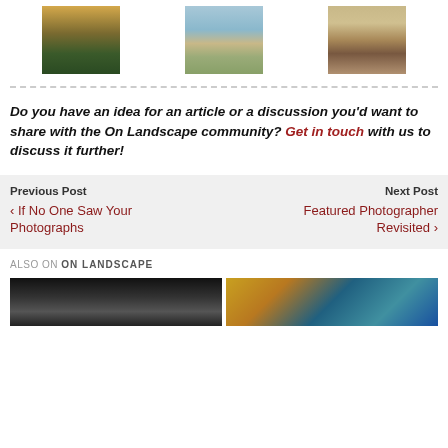[Figure (photo): Three landscape photos in a row: sunset over fields, coastal beach scene, and mountain valley.]
Do you have an idea for an article or a discussion you'd want to share with the On Landscape community? Get in touch with us to discuss it further!
Previous Post
‹ If No One Saw Your Photographs
Next Post
Featured Photographer Revisited ›
ALSO ON ON LANDSCAPE
[Figure (photo): Two thumbnail images for related articles on On Landscape.]